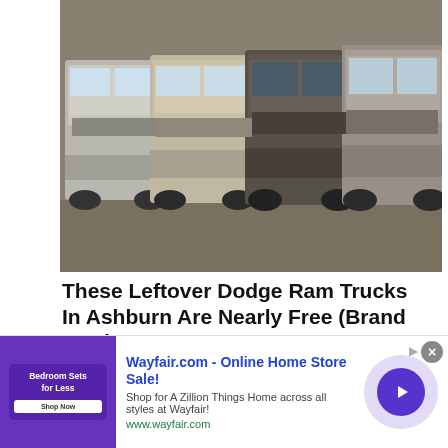[Figure (photo): Row of pickup trucks (Dodge Ram style) parked in a lot, silver, dark gray colors, photographed from the front]
These Leftover Dodge Ram Trucks In Ashburn Are Nearly Free (Brand New)
Dodge | Search Ads
Click Here
[Figure (illustration): Cartoon illustration of a person lying down being struck by red lightning bolts, person appears shocked, wearing blue clothing]
[Figure (screenshot): Wayfair.com advertisement banner: title 'Wayfair.com - Online Home Store Sale!', description 'Shop for A Zillion Things Home across all styles at Wayfair!', url 'www.wayfair.com', with purple thumbnail and play button]